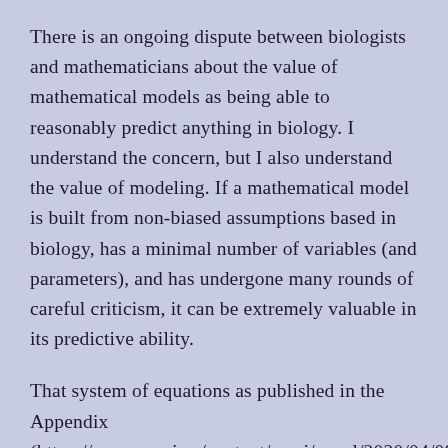There is an ongoing dispute between biologists and mathematicians about the value of mathematical models as being able to reasonably predict anything in biology. I understand the concern, but I also understand the value of modeling. If a mathematical model is built from non-biased assumptions based in biology, has a minimal number of variables (and parameters), and has undergone many rounds of careful criticism, it can be extremely valuable in its predictive ability.
That system of equations as published in the Appendix (https://www.cmaj.ca/content/cmaj/suppl/2020/04/08/cmaj.200476.DC1/200476-res-1-at.pdf), as shown below in a blown-up screenshot, would be the